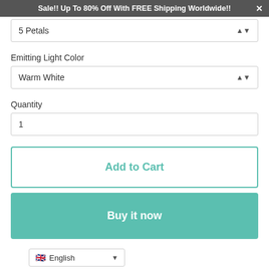Sale!! Up To 80% Off With FREE Shipping Worldwide!! ×
5 Petals
Emitting Light Color
Warm White
Quantity
1
Add to Cart
Buy it now
English